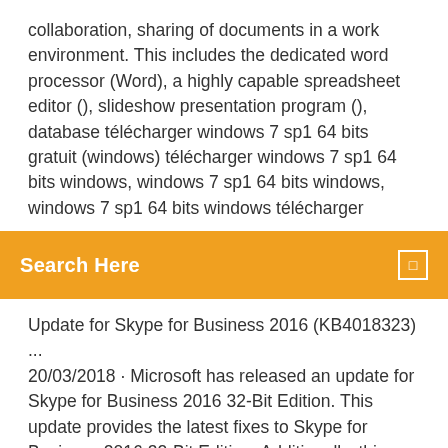collaboration, sharing of documents in a work environment. This includes the dedicated word processor (Word), a highly capable spreadsheet editor (), slideshow presentation program (), database télécharger windows 7 sp1 64 bits gratuit (windows) télécharger windows 7 sp1 64 bits windows, windows 7 sp1 64 bits windows, windows 7 sp1 64 bits windows télécharger
Search Here
Update for Skype for Business 2016 (KB4018323) ... 20/03/2018 · Microsoft has released an update for Skype for Business 2016 32-Bit Edition. This update provides the latest fixes to Skype for Business 2016 32-Bit Edition. Additionally, this update contains stability and performance improvements. Windows 7 Home Premium 32 bits - Télécharger Téléchargez la dernière version de Windows 7 Home Premium pour Windows. Téléchargez le dernier système d'exploitation de Microsoft. Microsoft Windos Seven devrait fr. Windows. Utilitaires.